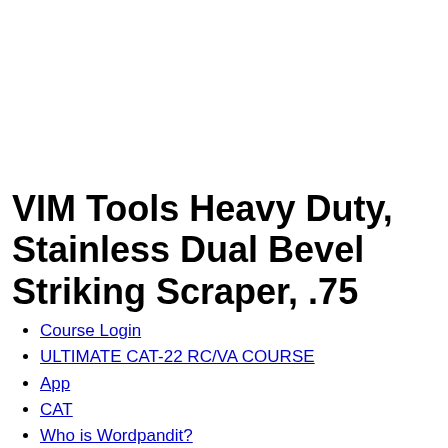VIM Tools Heavy Duty, Stainless Dual Bevel Striking Scraper, .75
Course Login
ULTIMATE CAT-22 RC/VA COURSE
App
CAT
Who is Wordpandit?
About Us
DISNEY'S Shakespeare's 11 choices 2'6" Youth Fishing Pole-Rod